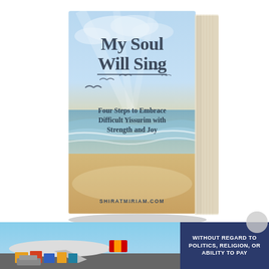[Figure (photo): 3D rendered book cover titled 'My Soul Will Sing' with subtitle 'Four Steps to Embrace Difficult Yissurim with Strength and Joy'. The cover shows a beach scene with birds flying over ocean waves and sky. Website SHIRATMIRIAM.COM shown at bottom of book. Book is shown in perspective/3D angle with visible spine and shadow.]
[Figure (photo): Advertisement banner showing an airplane being loaded with cargo at an airport, with colorful freight/shipping boxes visible. Next to it is a dark blue box with text 'WITHOUT REGARD TO POLITICS, RELIGION, OR ABILITY TO PAY'.]